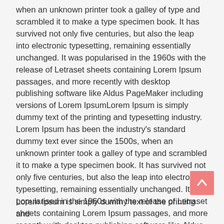when an unknown printer took a galley of type and scrambled it to make a type specimen book. It has survived not only five centuries, but also the leap into electronic typesetting, remaining essentially unchanged. It was popularised in the 1960s with the release of Letraset sheets containing Lorem Ipsum passages, and more recently with desktop publishing software like Aldus PageMaker including versions of Lorem IpsumLorem Ipsum is simply dummy text of the printing and typesetting industry. Lorem Ipsum has been the industry's standard dummy text ever since the 1500s, when an unknown printer took a galley of type and scrambled it to make a type specimen book. It has survived not only five centuries, but also the leap into electronic typesetting, remaining essentially unchanged. It was popularised in the 1960s with the release of Letraset sheets containing Lorem Ipsum passages, and more recently with desktop publishing software like Aldus PageMaker including versions of Lorem Ipsum
Lorem Ipsum is simply dummy text of the printing and